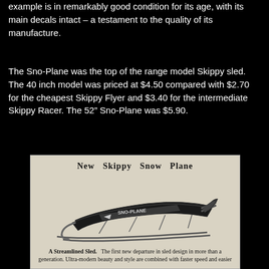example is in remarkably good condition for its age, with its main decals intact – a testament to the quality of its manufacture.
The Sno-Plane was the top of the range model Skippy sled. The 40 inch model was priced at $4.50 compared with $2.70 for the cheapest Skippy Flyer and $3.40 for the intermediate Skippy Racer. The 52" Sno-Plane was $5.90.
[Figure (illustration): A vintage advertisement showing the Skippy Snow Plane sled. The ad shows an illustration of a streamlined sled titled 'New Skippy Snow Plane' with caption text about it being a streamlined sled and first new departure in sled design in more than a generation with ultra-modern beauty and style combined with faster speed and easier steering.]
A Streamlined Sled. The first new departure in sled design in more than a generation. Ultra-modern beauty and style are combined with faster speed and easier